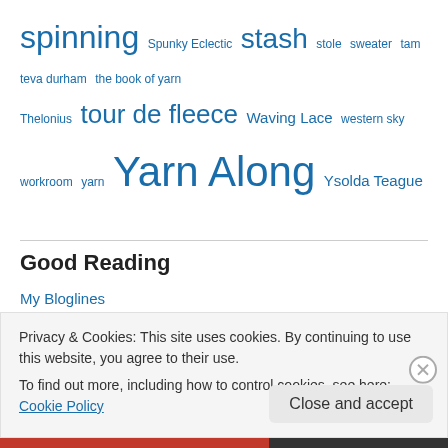spinning Spunky Eclectic stash stole sweater tam teva durham the book of yarn Thelonius tour de fleece Waving Lace western sky workroom yarn Yarn Along Ysolda Teague
Good Reading
My Bloglines
joining
[Figure (other): Partial circular badge/button image, brown/orange colored, partially visible at top]
Privacy & Cookies: This site uses cookies. By continuing to use this website, you agree to their use.
To find out more, including how to control cookies, see here: Cookie Policy
Close and accept